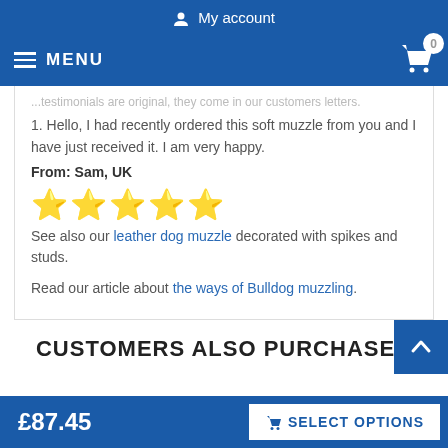My account
MENU  0
...testimonials are original, they come in our customers letters.
1. Hello, I had recently ordered this soft muzzle from you and I have just received it. I am very happy.
From: Sam, UK
[Figure (other): Five gold star rating icons]
See also our leather dog muzzle decorated with spikes and studs.
Read our article about the ways of Bulldog muzzling.
CUSTOMERS ALSO PURCHASED
£87.45
SELECT OPTIONS